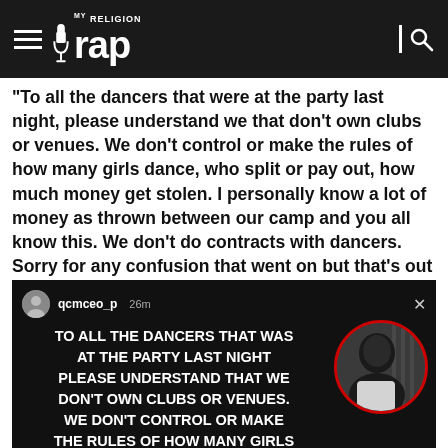MY RELIGION rap
“To all the dancers that were at the party last night, please understand we that don’t own clubs or venues. We don’t control or make the rules of how many girls dance, who split or pay out, how much money get stolen. I personally know a lot of money as thrown between our camp and you all know this. We don’t do contracts with dancers. Sorry for any confusion that went on but that’s out of our control.”
[Figure (screenshot): Instagram DM screenshot from qcmceo_p (26m ago) reading: TO ALL THE DANCERS THAT WAS AT THE PARTY LAST NIGHT PLEASE UNDERSTAND THAT WE DON’T OWN CLUBS OR VENUES. WE DON’T CONTROL OR MAKE THE RULES OF HOW MANY GIRLS DANCE, WHO SPLIT OR PAY OUT, with a circular portrait photo of a man on the right side bordered in red.]